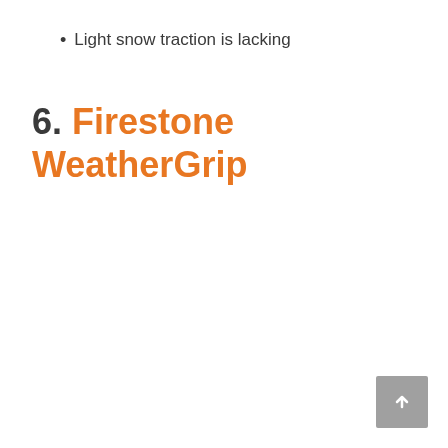Light snow traction is lacking
6. Firestone WeatherGrip